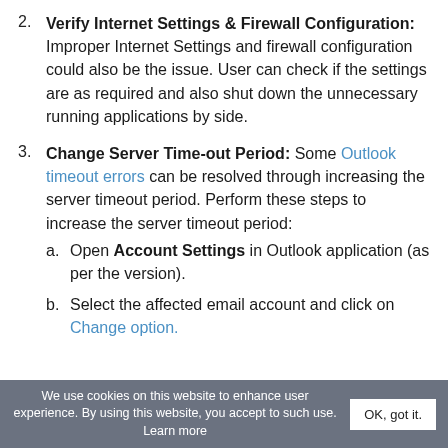2. Verify Internet Settings & Firewall Configuration: Improper Internet Settings and firewall configuration could also be the issue. User can check if the settings are as required and also shut down the unnecessary running applications by side.
3. Change Server Time-out Period: Some Outlook timeout errors can be resolved through increasing the server timeout period. Perform these steps to increase the server timeout period:
a. Open Account Settings in Outlook application (as per the version).
b. Select the affected email account and click on Change option.
We use cookies on this website to enhance user experience. By using this website, you accept to such use. Learn more